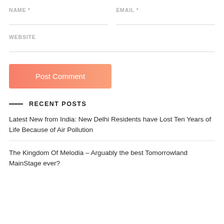NAME *
EMAIL *
WEBSITE
Post Comment
RECENT POSTS
Latest New from India: New Delhi Residents have Lost Ten Years of Life Because of Air Pollution
The Kingdom Of Melodia – Arguably the best Tomorrowland MainStage ever?